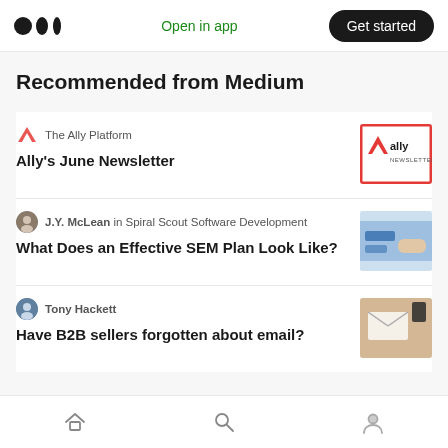Medium logo | Open in app | Get started
Recommended from Medium
The Ally Platform — Ally's June Newsletter
J.Y. McLean in Spiral Scout Software Development — What Does an Effective SEM Plan Look Like?
Tony Hackett — Have B2B sellers forgotten about email?
Home | Search | Profile